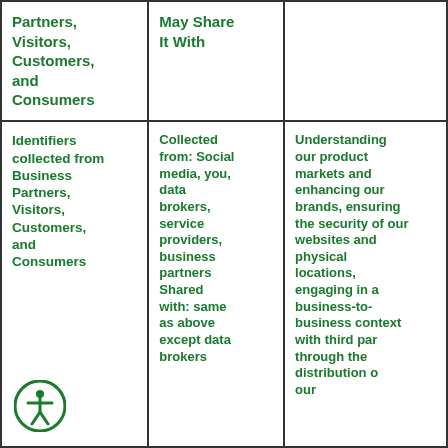| Category (collected from Business Partners, Visitors, Customers, and Consumers) | May Share It With |  |
| --- | --- | --- |
| Identifiers collected from Business Partners, Visitors, Customers, and Consumers | Collected from: Social media, you, data brokers, service providers, business partners Shared with: same as above except data brokers | Understanding our product markets and enhancing our brands, ensuring the security of our websites and physical locations, engaging in a business-to-business context with third parties through the distribution of our |